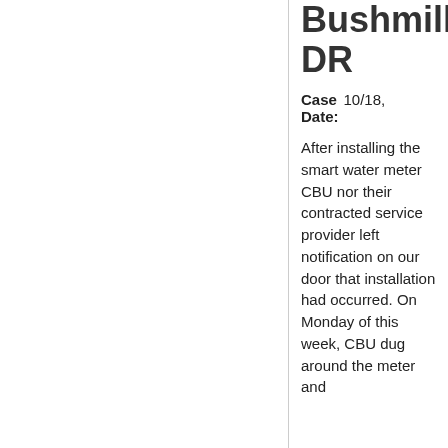Bushmill DR
Case Date: 10/18,
After installing the smart water meter CBU nor their contracted service provider left notification on our door that installation had occurred. On Monday of this week, CBU dug around the meter and